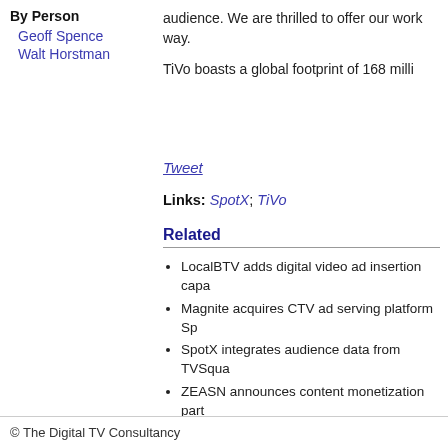By Person
Geoff Spence
Walt Horstman
audience. We are thrilled to offer our work way.

TiVo boasts a global footprint of 168 milli
Tweet
Links: SpotX; TiVo
Related
LocalBTV adds digital video ad insertion capa
Magnite acquires CTV ad serving platform Sp
SpotX integrates audience data from TVSqua
ZEASN announces content monetization part
SpotX expands privacy-compliant CTV audie
$18 million of Series B funding for IRIS.TV
© The Digital TV Consultancy